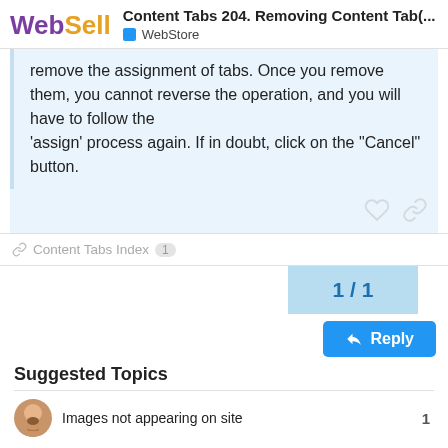WebSell — Content Tabs 204. Removing Content Tab(... — WebStore
remove the assignment of tabs. Once you remove them, you cannot reverse the operation, and you will have to follow the 'assign' process again. If in doubt, click on the "Cancel" button.
Content Tabs Index 1
1 / 1
Reply
Suggested Topics
Images not appearing on site  1